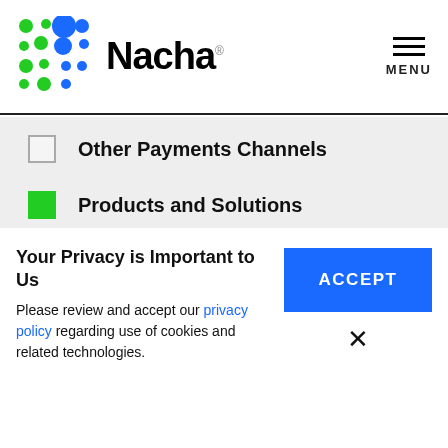[Figure (logo): Nacha logo with colorful dot grid icon and 'Nacha' wordmark in bold black, menu icon top right]
Other Payments Channels (unchecked)
Products and Solutions (checked, green)
Risk Management (unchecked)
Standards (checked, green)
Training (partially visible, checked green)
Your Privacy is Important to Us
Please review and accept our privacy policy regarding use of cookies and related technologies.
ACCEPT
×